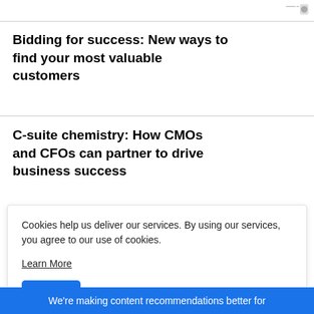Bidding for success: New ways to find your most valuable customers
C-suite chemistry: How CMOs and CFOs can partner to drive business success
Cookies help us deliver our services. By using our services, you agree to our use of cookies.
Learn More
Got It
We're making content recommendations better for